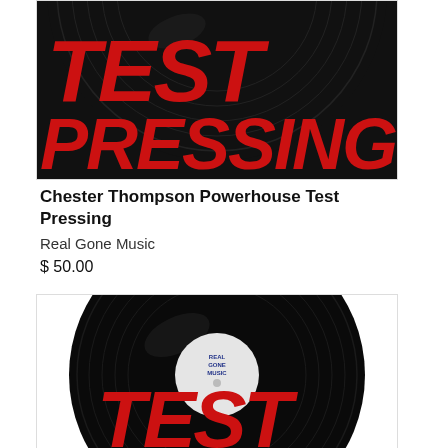[Figure (illustration): Black vinyl record with red 'TEST PRESSING' text overlay, cropped showing top portion of record]
Chester Thompson Powerhouse Test Pressing
Real Gone Music
$ 50.00
[Figure (illustration): Black vinyl record with white center label reading 'REAL GONE MUSIC' and red 'TEST' text at bottom]